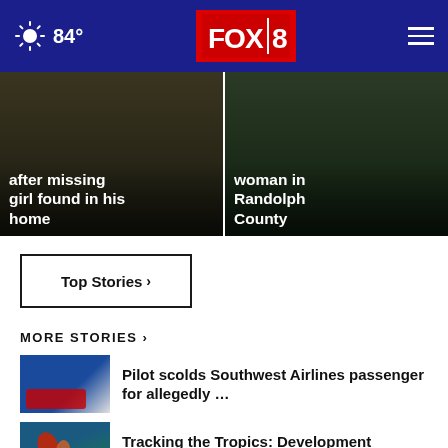84° FOX 8
[Figure (photo): Hero image left: man arrested after missing girl found in his home]
after missing girl found in his home
[Figure (photo): Hero image right: woman in Randolph County]
woman in Randolph County
Top Stories ›
MORE STORIES ›
[Figure (photo): Southwest Airlines plane thumbnail]
Pilot scolds Southwest Airlines passenger for allegedly …
[Figure (photo): Tropical storm tracking map thumbnail]
Tracking the Tropics: Development expected this week …
[Figure (photo): Mar-a-Lago aerial thumbnail]
DOJ: Classified documents at Mar-a-Lago 'likely concealed